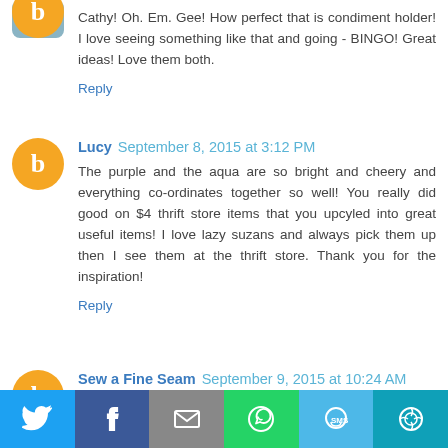Cathy! Oh. Em. Gee! How perfect that is condiment holder! I love seeing something like that and going - BINGO! Great ideas! Love them both.
Reply
Lucy  September 8, 2015 at 3:12 PM
The purple and the aqua are so bright and cheery and everything co-ordinates together so well! You really did good on $4 thrift store items that you upcyled into great useful items! I love lazy suzans and always pick them up then I see them at the thrift store. Thank you for the inspiration!
Reply
Sew a Fine Seam  September 9, 2015 at 10:24 AM
[Figure (infographic): Social share bar with Twitter, Facebook, Email, WhatsApp, SMS, and More buttons]